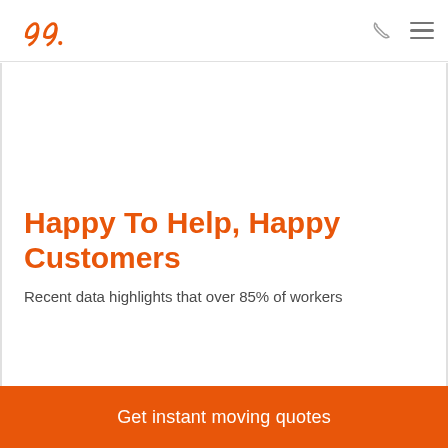99. [logo] — phone icon — hamburger menu
Happy To Help, Happy Customers
Recent data highlights that over 85% of workers
Get instant moving quotes